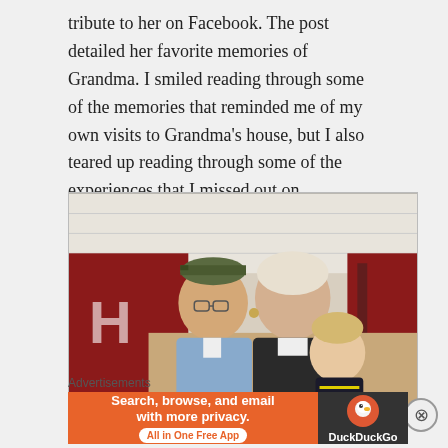tribute to her on Facebook. The post detailed her favorite memories of Grandma. I smiled reading through some of the memories that reminded me of my own visits to Grandma's house, but I also teared up reading through some of the experiences that I missed out on.
[Figure (photo): Photograph of an elderly man in a blue shirt and green cap, an older woman with light hair smiling, and a young toddler with blonde hair sitting between them, posing on what appears to be a porch with red plaid furniture.]
Advertisements
[Figure (screenshot): DuckDuckGo advertisement banner: orange background on left with text 'Search, browse, and email with more privacy.' and 'All in One Free App' button; dark right panel with DuckDuckGo duck logo and 'DuckDuckGo' text.]